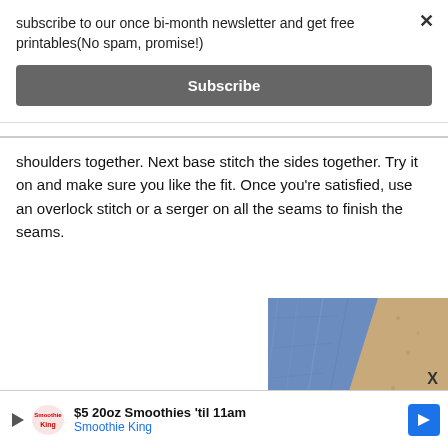subscribe to our once bi-month newsletter and get free printables(No spam, promise!)
Subscribe
shoulders together. Next base stitch the sides together. Try it on and make sure you like the fit. Once you're satisfied, use an overlock stitch or a serger on all the seams to finish the seams.
[Figure (photo): Close-up photo of blue fabric and tan/cork material corner]
$5 20oz Smoothies 'til 11am Smoothie King